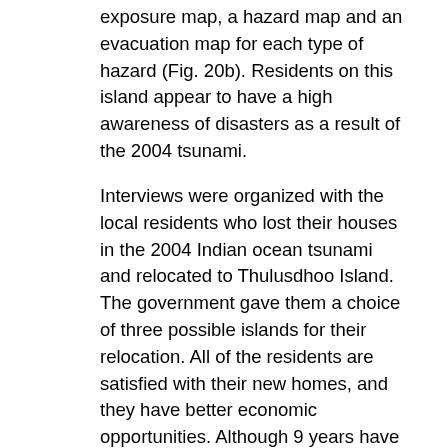exposure map, a hazard map and an evacuation map for each type of hazard (Fig. 20b). Residents on this island appear to have a high awareness of disasters as a result of the 2004 tsunami.
Interviews were organized with the local residents who lost their houses in the 2004 Indian ocean tsunami and relocated to Thulusdhoo Island. The government gave them a choice of three possible islands for their relocation. All of the residents are satisfied with their new homes, and they have better economic opportunities. Although 9 years have passed since the 2004 tsunami, residents still have a
high awareness and a strong will to participate in disaster-related activities. However, there has been a problem regarding the amount of space in residents' new houses. Because extended families commonly live together in this country, often one house with three rooms cannot accommodate the size of a household.
A meeting was organized with representatives from schools, health centers, the police force and the atoll council. Although the local people are satisfied with